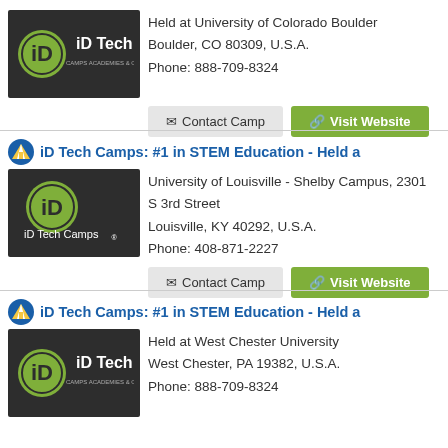[Figure (logo): iD Tech logo on dark background]
Held at University of Colorado Boulder
Boulder, CO 80309, U.S.A.
Phone: 888-709-8324
Contact Camp   Visit Website
iD Tech Camps: #1 in STEM Education - Held a
[Figure (logo): iD Tech Camps logo on dark background]
University of Louisville - Shelby Campus, 2301 S 3rd Street
Louisville, KY 40292, U.S.A.
Phone: 408-871-2227
Contact Camp   Visit Website
iD Tech Camps: #1 in STEM Education - Held a
[Figure (logo): iD Tech logo on dark background]
Held at West Chester University
West Chester, PA 19382, U.S.A.
Phone: 888-709-8324